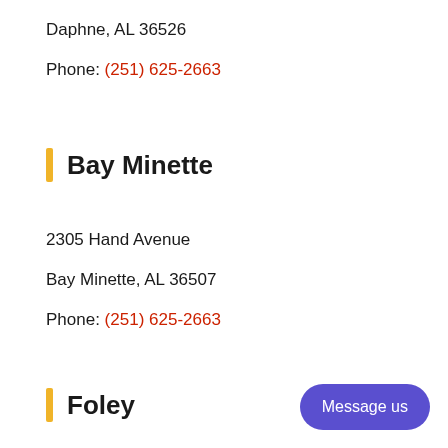Daphne, AL 36526
Phone: (251) 625-2663
Bay Minette
2305 Hand Avenue
Bay Minette, AL 36507
Phone: (251) 625-2663
Foley
Message us